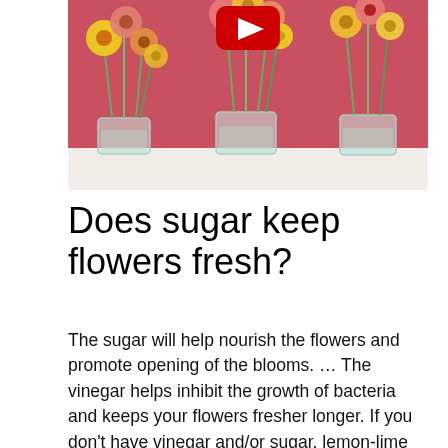[Figure (photo): Photo of colorful flowers (pink, yellow, orange gerbera daisies) in clear glass mason jars with green stems, on a white surface against a pink/red background. A YouTube play button icon is visible at the top center of the image.]
Does sugar keep flowers fresh?
The sugar will help nourish the flowers and promote opening of the blooms. … The vinegar helps inhibit the growth of bacteria and keeps your flowers fresher longer. If you don't have vinegar and/or sugar, lemon-lime soda mixed with the water will do the same thing.
How do you keep flowers alive longer?